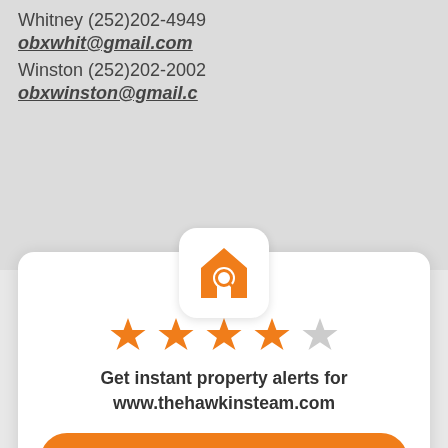Whitney (252)202-4949
obxwhit@gmail.com
Winston (252)202-2002
obxwinston@gmail.c…
[Figure (logo): Orange house with magnifying glass search icon on white rounded square background]
[Figure (other): 4 filled orange stars and 1 empty gray star rating]
Get instant property alerts for www.thehawkinsteam.com
Get the MoveTo App
Not Now